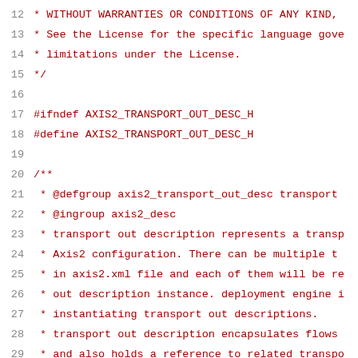12  * WITHOUT WARRANTIES OR CONDITIONS OF ANY KIND,
13  * See the License for the specific language gove
14  * limitations under the License.
15  */
16
17  #ifndef AXIS2_TRANSPORT_OUT_DESC_H
18  #define AXIS2_TRANSPORT_OUT_DESC_H
19
20  /**
21  * @defgroup axis2_transport_out_desc transport
22  * @ingroup axis2_desc
23  * transport out description represents a transp
24  * Axis2 configuration. There can be multiple t
25  * in axis2.xml file and each of them will be r
26  * out description instance. deployment engine
27  * instantiating transport out descriptions.
28  * transport out description encapsulates flows
29  * and also holds a reference to related transp
30  * @{
31  */
32